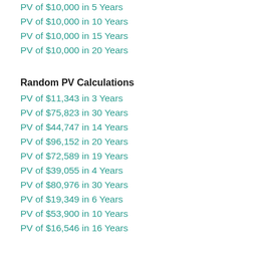PV of $10,000 in 5 Years
PV of $10,000 in 10 Years
PV of $10,000 in 15 Years
PV of $10,000 in 20 Years
Random PV Calculations
PV of $11,343 in 3 Years
PV of $75,823 in 30 Years
PV of $44,747 in 14 Years
PV of $96,152 in 20 Years
PV of $72,589 in 19 Years
PV of $39,055 in 4 Years
PV of $80,976 in 30 Years
PV of $19,349 in 6 Years
PV of $53,900 in 10 Years
PV of $16,546 in 16 Years